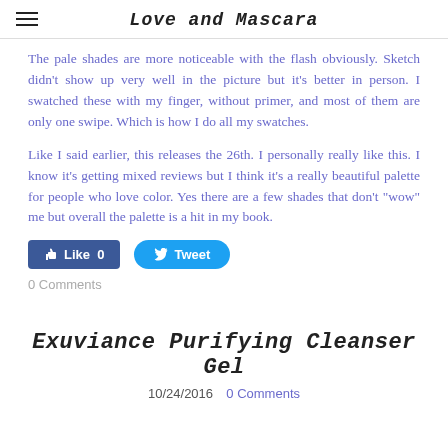Love and Mascara
The pale shades are more noticeable with the flash obviously. Sketch didn't show up very well in the picture but it's better in person. I swatched these with my finger, without primer, and most of them are only one swipe. Which is how I do all my swatches.
Like I said earlier, this releases the 26th. I personally really like this. I know it's getting mixed reviews but I think it's a really beautiful palette for people who love color. Yes there are a few shades that don't "wow" me but overall the palette is a hit in my book.
[Figure (other): Social media buttons: Facebook Like (0) and Twitter Tweet]
0 Comments
Exuviance Purifying Cleanser Gel
10/24/2016   0 Comments